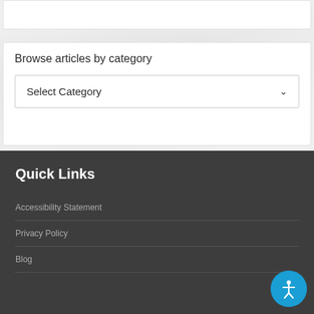Browse articles by category
Select Category
Quick Links
Accessibility Statement
Privacy Policy
Blog